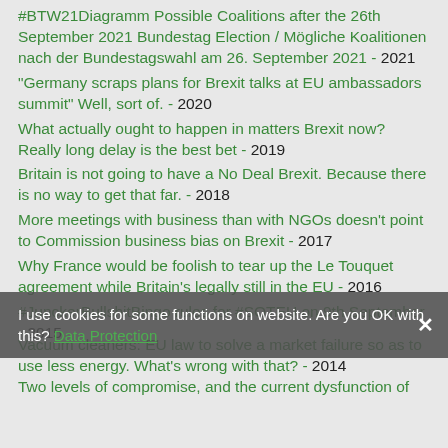#BTW21Diagramm Possible Coalitions after the 26th September 2021 Bundestag Election / Mögliche Koalitionen nach der Bundestagswahl am 26. September 2021 - 2021
"Germany scraps plans for Brexit talks at EU ambassadors summit" Well, sort of. - 2020
What actually ought to happen in matters Brexit now? Really long delay is the best bet - 2019
Britain is not going to have a No Deal Brexit. Because there is no way to get that far. - 2018
More meetings with business than with NGOs doesn't point to Commission business bias on Brexit - 2017
Why France would be foolish to tear up the Le Touquet agreement while Britain's legally still in the EU - 2016
#JunckerBullshitBingo rules for #SOTEU on 9th September - 2015
Vacuum cleaners: EU law to solve a market failure so as to use less energy. What's wrong with that? - 2014
Two levels of compromise, and the current dysfunction of